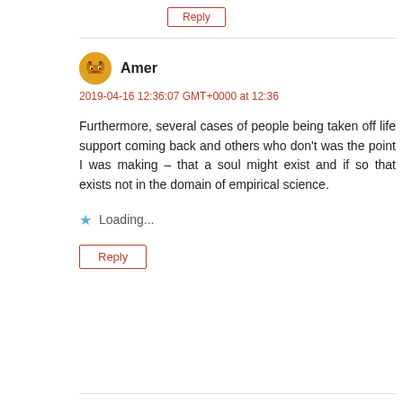Reply
Amer
2019-04-16 12:36:07 GMT+0000 at 12:36
Furthermore, several cases of people being taken off life support coming back and others who don't was the point I was making – that a soul might exist and if so that exists not in the domain of empirical science.
Loading...
Reply